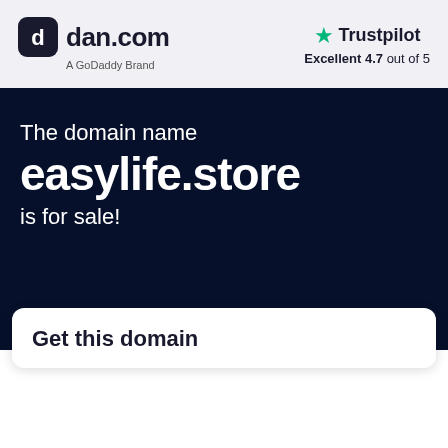dan.com A GoDaddy Brand | Trustpilot Excellent 4.7 out of 5
The domain name
easylife.store
is for sale!
Get this domain
$400
Buy